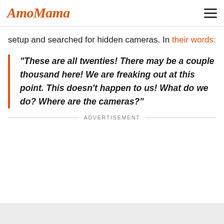AmoMama
setup and searched for hidden cameras. In their words:
"These are all twenties! There may be a couple thousand here! We are freaking out at this point. This doesn't happen to us! What do we do? Where are the cameras?"
ADVERTISEMENT